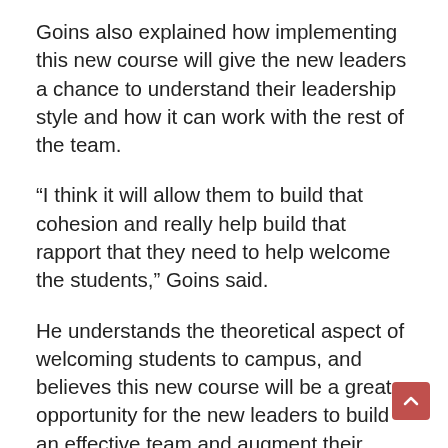Goins also explained how implementing this new course will give the new leaders a chance to understand their leadership style and how it can work with the rest of the team.
“I think it will allow them to build that cohesion and really help build that rapport that they need to help welcome the students,” Goins said.
He understands the theoretical aspect of welcoming students to campus, and believes this new course will be a great opportunity for the new leaders to build an effective team and augment their leadership styles over the course of the semester into the summer.
Tyler Sewell, a senior human resource management major and former                                          member, feels the new leaders will benefit from the leadership skills